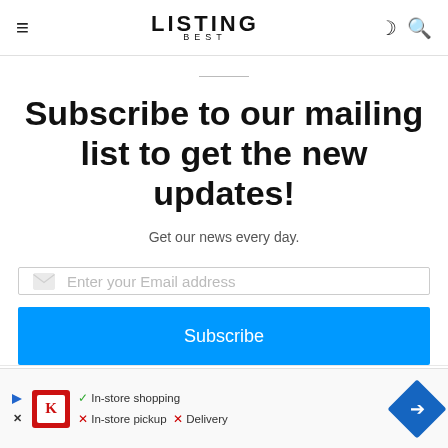LISTING BEST
Do you want to receive our new articles?
Subscribe to our mailing list to get the new updates!
Get our news every day.
Enter your Email address
Subscribe
[Figure (photo): Grainy black and white photo at bottom of page]
In-store shopping
In-store pickup  Delivery